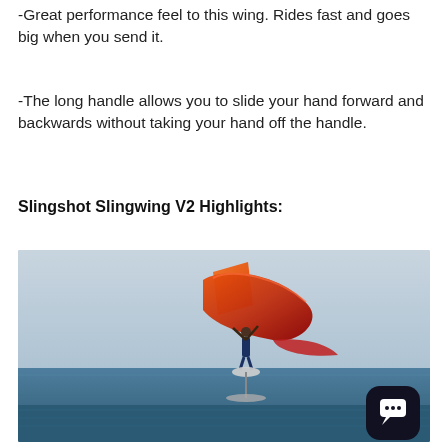-Great performance feel to this wing. Rides fast and goes big when you send it.
-The long handle allows you to slide your hand forward and backwards without taking your hand off the handle.
Slingshot Slingwing V2 Highlights:
[Figure (photo): A person wing foiling in mid-air above the ocean water, holding an orange-red Slingshot Slingwing V2 wing, with sky and sea visible in the background. A chat bubble icon overlay is visible in the bottom-right corner.]